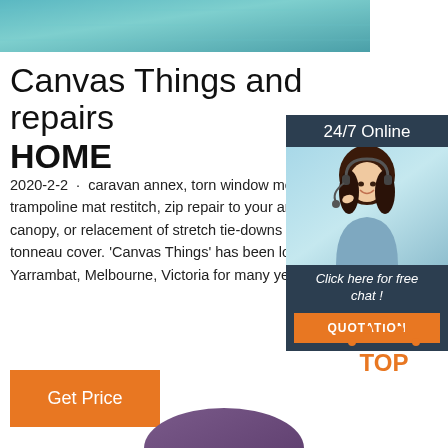[Figure (photo): Top banner image with teal/green textured background]
Canvas Things and repairs HOME
2020-2-2 · caravan annex, torn window mes trampoline mat restitch, zip repair to your an canopy, or relacement of stretch tie-downs o tonneau cover. 'Canvas Things' has been loc Yarrambat, Melbourne, Victoria for many yea
[Figure (infographic): 24/7 Online agent widget with woman wearing headset, 'Click here for free chat!' text, and QUOTATION button]
[Figure (logo): TOP logo with orange dots above text]
[Figure (photo): Purple/dark object partially visible at bottom]
Get Price